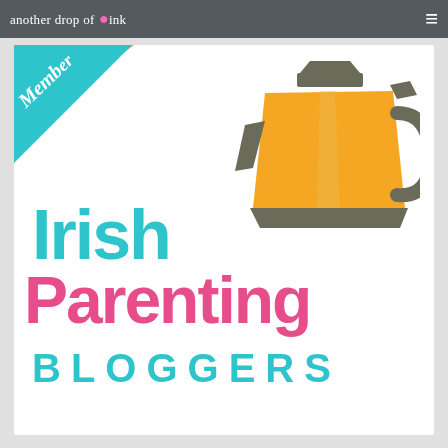another drop of ink  ≡
[Figure (logo): Irish Parenting Bloggers logo with a stylized kettle graphic in orange and grey, bold teal text 'Irish' and 'BLOGGERS', bold pink text 'Parenting', diagonal corner badge in teal/pink/orange with 'Member' text]